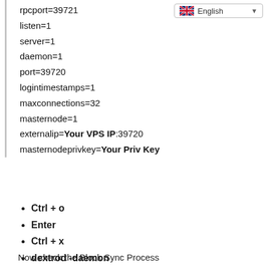[Figure (screenshot): Language selector dropdown showing English with UK flag icon]
rpcport=39721
listen=1
server=1
daemon=1
port=39720
logintimestamps=1
maxconnections=32
masternode=1
externalip=Your VPS IP:39720
masternodeprivkey=Your Priv Key
Ctrl + o
Enter
Ctrl + x
dextrod -daemon
Now check the Block Sync Process